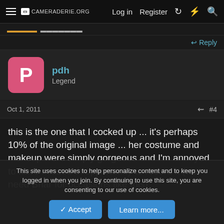CAMERADERIE.ORG  Log in  Register
Reply
pdh
Legend
Oct 1, 2011  #4
this is the one that I cocked up ... it's perhaps 10% of the original image ... her costume and makeup were simply gorgeous and I'm annoyed to have missed th opportunity to record it (we need Briar for occasions like this)
This site uses cookies to help personalize content and to keep you logged in when you join. By continuing to use this site, you are consenting to our use of cookies.